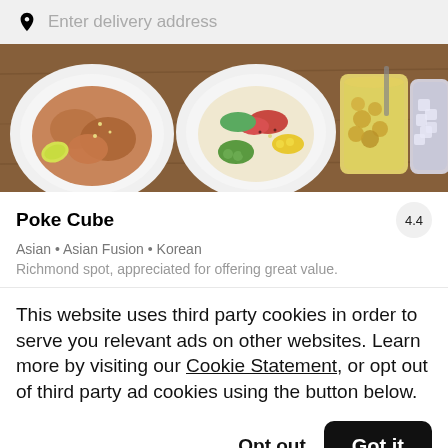Enter delivery address
[Figure (photo): Food delivery app header showing bowls of Asian food including poke bowls, edamame, and drinks on a wooden table]
Poke Cube
Asian • Asian Fusion • Korean
Richmond spot, appreciated for offering great value.
This website uses third party cookies in order to serve you relevant ads on other websites. Learn more by visiting our Cookie Statement, or opt out of third party ad cookies using the button below.
Opt out
Got it